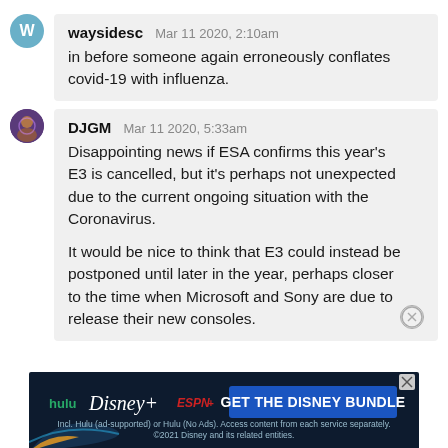waysidesc  Mar 11 2020, 2:10am
in before someone again erroneously conflates covid-19 with influenza.
DJGM  Mar 11 2020, 5:33am
Disappointing news if ESA confirms this year's E3 is cancelled, but it's perhaps not unexpected due to the current ongoing situation with the Coronavirus.

It would be nice to think that E3 could instead be postponed until later in the year, perhaps closer to the time when Microsoft and Sony are due to release their new consoles.
[Figure (screenshot): Advertisement banner for Disney Bundle showing hulu, Disney+, ESPN+ logos and 'GET THE DISNEY BUNDLE' call to action on dark background]